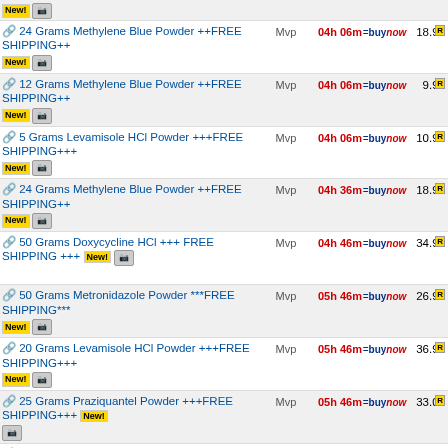24 Grams Methylene Blue Powder ++FREE SHIPPING++ | Mvp | 04h 06m | buynow | 18.99
12 Grams Methylene Blue Powder ++FREE SHIPPING++ | Mvp | 04h 06m | buynow | 9.99
5 Grams Levamisole HCl Powder +++FREE SHIPPING+++ | Mvp | 04h 06m | buynow | 10.99
24 Grams Methylene Blue Powder ++FREE SHIPPING++ | Mvp | 04h 36m | buynow | 18.99
50 Grams Doxycycline HCl +++FREE SHIPPING +++ | Mvp | 04h 46m | buynow | 34.99
50 Grams Metronidazole Powder ***FREE SHIPPING*** | Mvp | 05h 46m | buynow | 26.99
20 Grams Levamisole HCl Powder +++FREE SHIPPING+++ | Mvp | 05h 46m | buynow | 36.99
25 Grams Praziquantel Powder +++FREE SHIPPING+++ | Mvp | 05h 46m | buynow | 33.00
25 Grams Nitrofuracin Green Powder +FREE SCOOP+ | Mvp | 05h 46m | buynow | 9.99